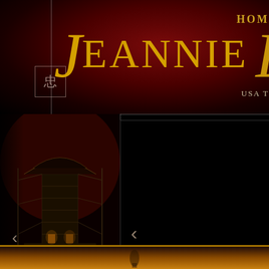[Figure (screenshot): Jeannie Lin author website header screenshot. Dark crimson/maroon background with large gold italic script reading 'Jeannie Lin', a Chinese character stamp on the left, 'USA T' text on the right, 'HOM' navigation text top right, a book cover image showing a dark fantasy building on the lower left, a black media player area in the center-right, a left-pointing arrow navigation element, and a gold/amber strip at the bottom.]